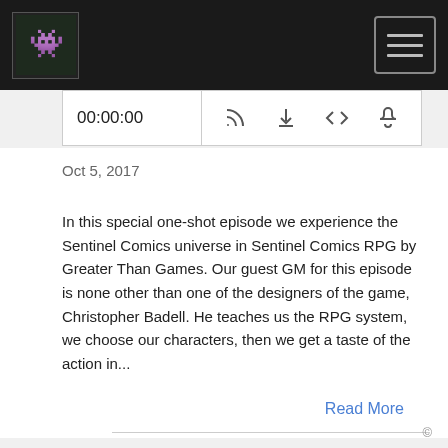Podcast website header with logo and hamburger menu
[Figure (screenshot): Audio player bar showing 00:00:00 timestamp with RSS, download, embed code, and user icons]
Oct 5, 2017
In this special one-shot episode we experience the Sentinel Comics universe in Sentinel Comics RPG by Greater Than Games. Our guest GM for this episode is none other than one of the designers of the game, Christopher Badell. He teaches us the RPG system, we choose our characters, then we get a taste of the action in...
Read More
©